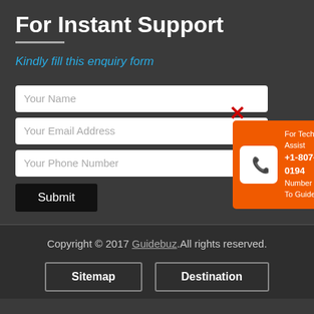For Instant Support
Kindly fill this enquiry form
[Figure (screenshot): Web form with fields: Your Name, Your Email Address, Your Phone Number, and a Submit button. A red X appears near the name field. An orange popup overlay shows a phone icon, text 'For Technical Assist +1-807-698-0194 Number Belongs To GuideBuz'.]
Copyright © 2017 Guidebuz.All rights reserved.
Sitemap   Destination